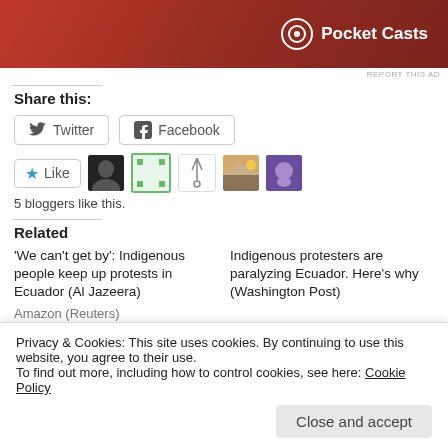[Figure (screenshot): Pocket Casts advertisement banner with red gradient background and white Pocket Casts logo and text]
REPORT THIS AD
Share this:
Twitter  Facebook
[Figure (infographic): Like button with star icon and 5 blogger avatar thumbnails]
5 bloggers like this.
Related
'We can't get by': Indigenous people keep up protests in Ecuador (Al Jazeera)
Indigenous protesters are paralyzing Ecuador. Here's why (Washington Post)
Amazon (Reuters)
Privacy & Cookies: This site uses cookies. By continuing to use this website, you agree to their use.
To find out more, including how to control cookies, see here: Cookie Policy